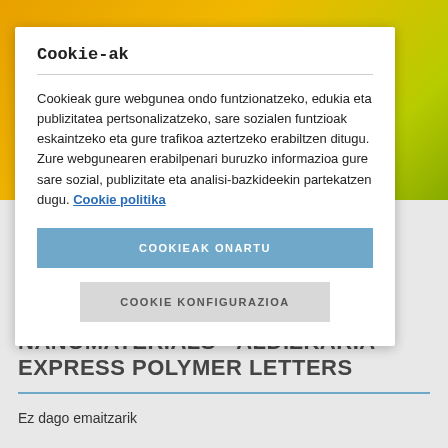[Figure (photo): Blurred yellow/orange background image, possibly flowers or citrus]
Cookie-ak
Cookieak gure webgunea ondo funtzionatzeko, edukia eta publizitatea pertsonalizatzeko, sare sozialen funtzioak eskaintzeko eta gure trafikoa aztertzeko erabiltzen ditugu. Zure webgunearen erabilpenari buruzko informazioa gure sare sozial, publizitate eta analisi-bazkideekin partekatzen dugu. Cookie politika
COOKIEAK ONARTU
COOKIE KONFIGURAZIOA
NANOMATERIALS - ALDIZKARIA - EXPRESS POLYMER LETTERS
Ez dago emaitzarik